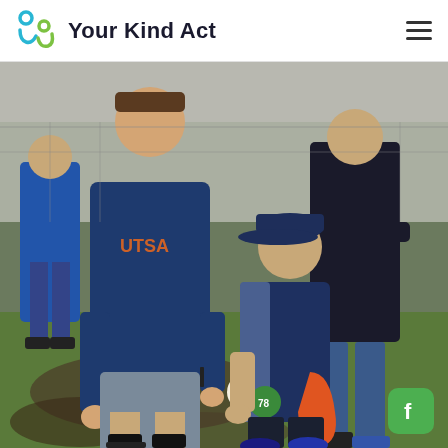Your Kind Act
[Figure (photo): A college baseball player in a navy UTSA hoodie and gray shorts signing a baseball for a young boy wearing a navy baseball cap and navy vest, holding an orange bag, with an adult standing behind the child. They are outdoors on a grassy muddy field near a chain-link fence.]